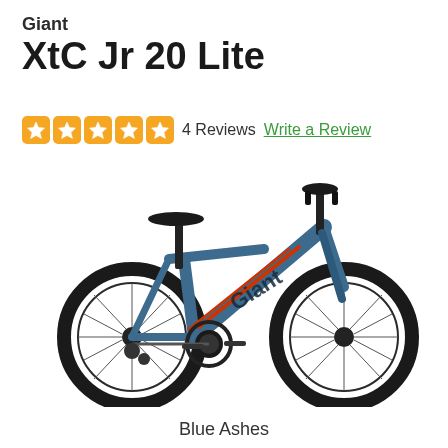Giant XtC Jr 20 Lite
4 Reviews   Write a Review
[Figure (photo): Giant XtC Jr 20 Lite children's mountain bike in Blue Ashes color, side view showing full bicycle with knobby tires, front suspension fork, derailleur gearing, and Giant branding on the down tube.]
Blue Ashes